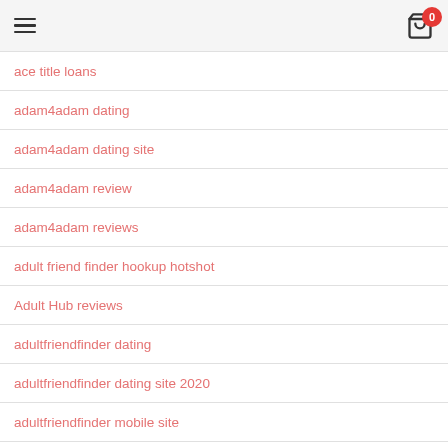hamburger menu | cart 0
ace title loans
adam4adam dating
adam4adam dating site
adam4adam review
adam4adam reviews
adult friend finder hookup hotshot
Adult Hub reviews
adultfriendfinder dating
adultfriendfinder dating site 2020
adultfriendfinder mobile site
Adulthookups Online Sex